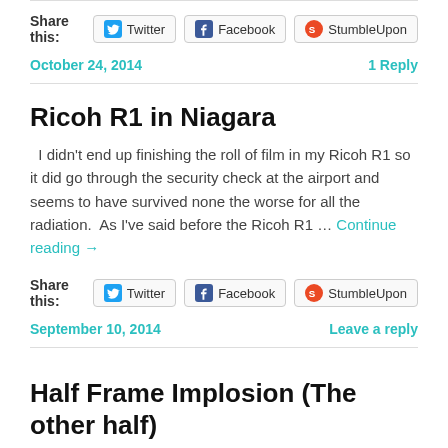Share this: Twitter Facebook StumbleUpon
October 24, 2014 | 1 Reply
Ricoh R1 in Niagara
I didn't end up finishing the roll of film in my Ricoh R1 so it did go through the security check at the airport and seems to have survived none the worse for all the radiation.  As I've said before the Ricoh R1 … Continue reading →
Share this: Twitter Facebook StumbleUpon
September 10, 2014 | Leave a reply
Half Frame Implosion (The other half)
The second half to my Adox Colour Implosion post the first part can be